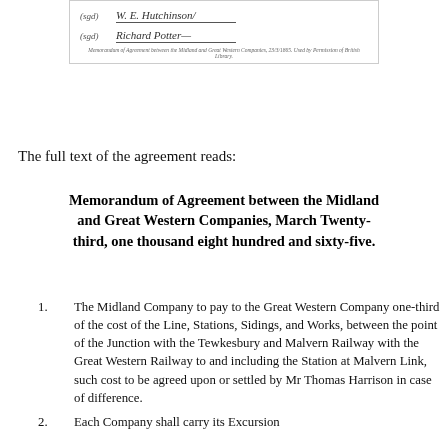[Figure (photo): Scanned document showing two signatures with labels '(sgd)' followed by cursive signatures for W. E. Hutchinson and Richard Potter, with a caption line at the bottom referencing Memorandum of Agreement between the Midland and Great Western Companies.]
The full text of the agreement reads:
Memorandum of Agreement between the Midland and Great Western Companies, March Twenty-third, one thousand eight hundred and sixty-five.
The Midland Company to pay to the Great Western Company one-third of the cost of the Line, Stations, Sidings, and Works, between the point of the Junction with the Tewkesbury and Malvern Railway with the Great Western Railway to and including the Station at Malvern Link, such cost to be agreed upon or settled by Mr Thomas Harrison in case of difference.
Each Company shall carry its Excursion